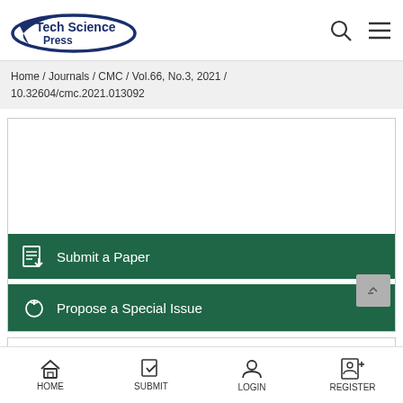Tech Science Press
Home / Journals / CMC / Vol.66, No.3, 2021 / 10.32604/cmc.2021.013092
[Figure (screenshot): White empty area inside card, part of a journal article page]
Submit a Paper
Propose a Special Issue
-
HOME   SUBMIT   LOGIN   REGISTER